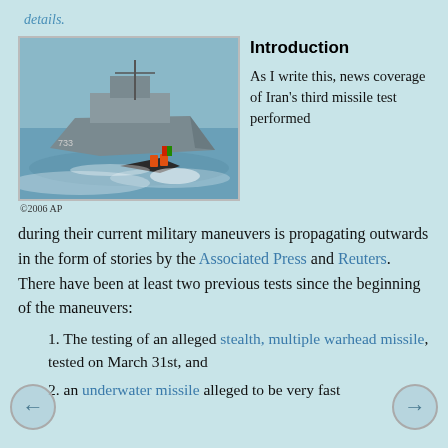details.
[Figure (photo): A naval scene showing a large military ship (numbered 733) and a small fast boat with orange-clad people, with waves and spray, credited ©2006 AP]
Introduction
As I write this, news coverage of Iran's third missile test performed during their current military maneuvers is propagating outwards in the form of stories by the Associated Press and Reuters. There have been at least two previous tests since the beginning of the maneuvers:
1. The testing of an alleged stealth, multiple warhead missile, tested on March 31st, and
2. an underwater missile alleged to be very fast